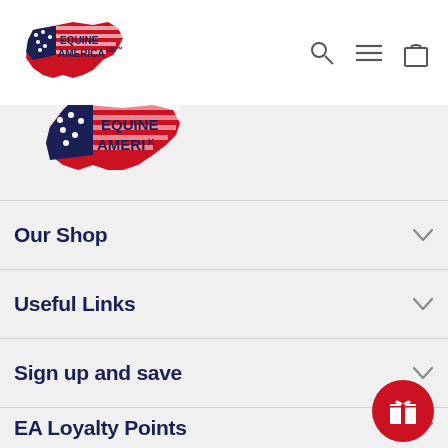[Figure (logo): Equine America UK logo showing USA map shape with stars and stripes, text EQUINE AMERICA UK]
[Figure (logo): Equine America partial logo footer version]
Our Shop
Useful Links
Sign up and save
EA Loyalty Points